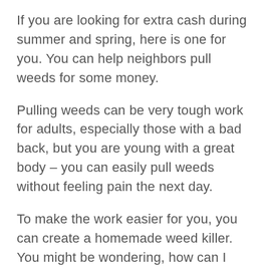If you are looking for extra cash during summer and spring, here is one for you. You can help neighbors pull weeds for some money.
Pulling weeds can be very tough work for adults, especially those with a bad back, but you are young with a great body – you can easily pull weeds without feeling pain the next day.
To make the work easier for you, you can create a homemade weed killer. You might be wondering, how can I create a homemade weed killer? But you don't have to fret; we have all that in control.